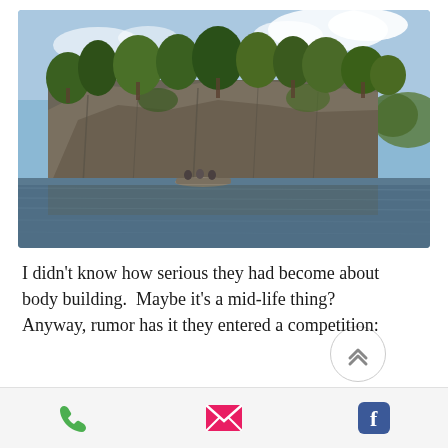[Figure (photo): Photograph of a rocky cliff island covered with dense green trees, reflected in a calm lake. A small boat with people is visible near the base of the cliff. Blue sky with light clouds in the background.]
I didn't know how serious they had become about body building.  Maybe it's a mid-life thing?  Anyway, rumor has it they entered a competition:
[Figure (other): Mobile app footer bar with three icons: green phone icon, pink/red envelope icon, and blue Facebook icon.]